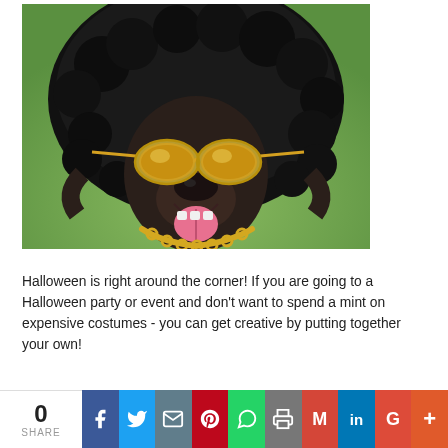[Figure (photo): A dog wearing a large black afro wig, gold aviator sunglasses, and a gold chain necklace, appearing happy with its mouth open, set against a green outdoor background.]
Halloween is right around the corner! If you are going to a Halloween party or event and don't want to spend a mint on expensive costumes - you can get creative by putting together your own!
0 SHARE | f | Twitter | Email | Pinterest | WhatsApp | Print | Gmail | in | G | +